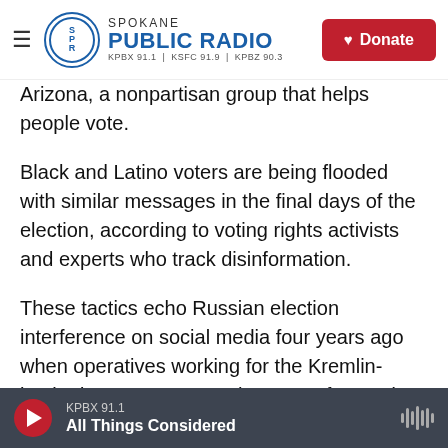Spokane Public Radio — KPBX 91.1 | KSFC 91.9 | KPBZ 90.3 — Donate
Arizona, a nonpartisan group that helps people vote.
Black and Latino voters are being flooded with similar messages in the final days of the election, according to voting rights activists and experts who track disinformation.
These tactics echo Russian election interference on social media four years ago when operatives working for the Kremlin-backed Internet Research Agency focused heavily on America's racial divisions, according to a Senate Intelligence
KPBX 91.1 — All Things Considered